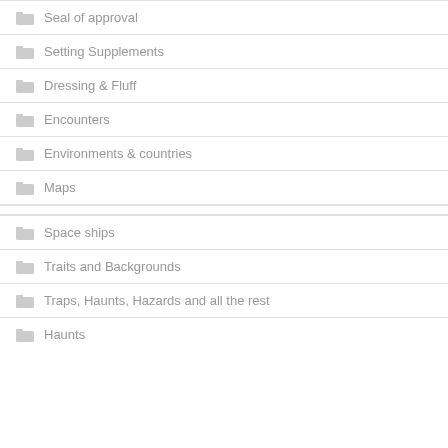Seal of approval
Setting Supplements
Dressing & Fluff
Encounters
Environments & countries
Maps
Space ships
Traits and Backgrounds
Traps, Haunts, Hazards and all the rest
Haunts